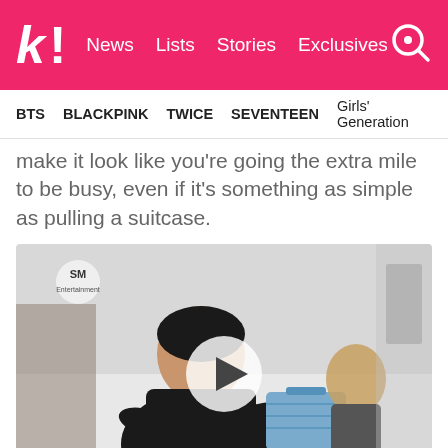k! News | Lists | Stories | Exclusives
BTS  BLACKPINK  TWICE  SEVENTEEN  Girls' Generation
make it look like you're going the extra mile to be busy, even if it's something as simple as pulling a suitcase.
[Figure (photo): Video thumbnail showing a Korean man in a black outfit leaning toward camera in what appears to be a backstage room with a blue suitcase, with another person in the background. A play button is overlaid in the center.]